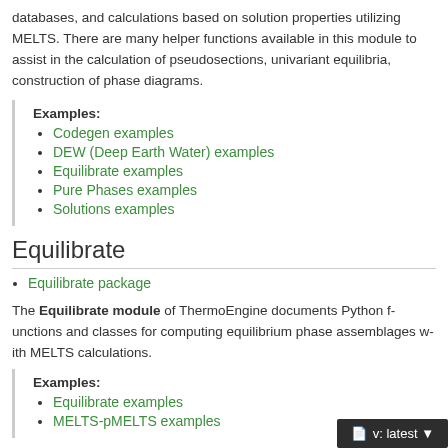databases, and calculations based on solution properties utilizing MELTS. There are many helper functions available in this module to assist in the calculation of pseudosections, univariant equilibria, construction of phase diagrams.
Examples:
Codegen examples
DEW (Deep Earth Water) examples
Equilibrate examples
Pure Phases examples
Solutions examples
Equilibrate
Equilibrate package
The Equilibrate module of ThermoEngine documents Python functions and classes for computing equilibrium phase assemblages with MELTS calculations.
Examples:
Equilibrate examples
MELTS-pMELTS examples